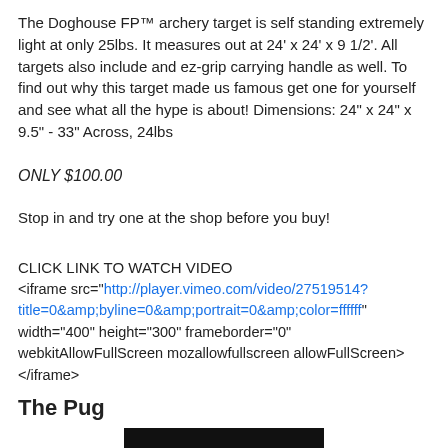The Doghouse FP™ archery target is self standing extremely light at only 25lbs. It measures out at 24' x 24' x 9 1/2'. All targets also include and ez-grip carrying handle as well. To find out why this target made us famous get one for yourself and see what all the hype is about! Dimensions: 24" x 24" x 9.5" - 33" Across, 24lbs
ONLY $100.00
Stop in and try one at the shop before you buy!
CLICK LINK TO WATCH VIDEO
<iframe src="http://player.vimeo.com/video/27519514?title=0&byline=0&portrait=0&color=ffffff" width="400" height="300" frameborder="0" webkitAllowFullScreen mozallowfullscreen allowFullScreen></iframe>
The Pug
[Figure (photo): Black and white photo of The Pug archery target, partially visible at bottom of page]